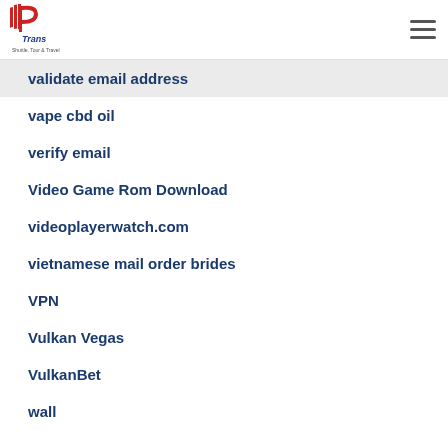P Trans Shuttle, Tour & Travel
validate email address
vape cbd oil
verify email
Video Game Rom Download
videoplayerwatch.com
vietnamese mail order brides
VPN
Vulkan Vegas
VulkanBet
wall